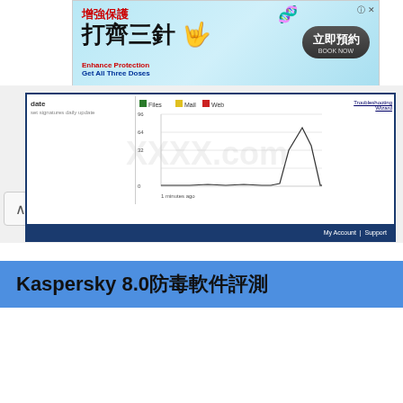[Figure (screenshot): Chinese government vaccination advertisement banner — 增強保護 打齊三針 Enhance Protection Get All Three Doses — with Book Now button (立即預約 BOOK NOW)]
[Figure (screenshot): Kaspersky antivirus software interface screenshot showing update panel on left with text 'date' and 'signatures daily update', a line chart in centre with Files, Mail, Web legend and y-axis values 96/64/32/0 and x-axis '1 minutes ago', right panel with link text, and dark blue footer bar with My Account | Support. Page shows up-arrow navigation button on left edge.]
Kaspersky 8.0防毒軟件評測